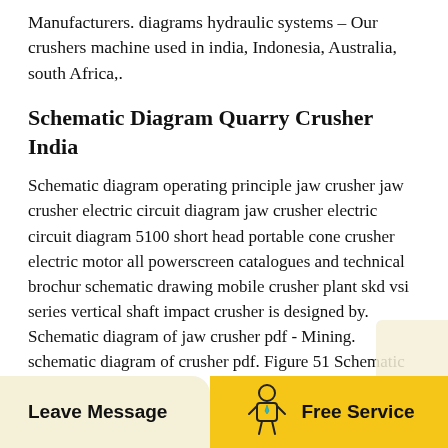Manufacturers. diagrams hydraulic systems – Our crushers machine used in india, Indonesia, Australia, south Africa,.
Schematic Diagram Quarry Crusher India
Schematic diagram operating principle jaw crusher jaw crusher electric circuit diagram jaw crusher electric circuit diagram 5100 short head portable cone crusher electric motor all powerscreen catalogues and technical brochur schematic drawing mobile crusher plant skd vsi series vertical shaft impact crusher is designed by. Schematic diagram of jaw crusher pdf - Mining. schematic diagram of crusher pdf. Figure 51 Schematic diagram of a crusher showingg the open and closedside settings 51 Jaw and Gyratory Crushers. Jaw and gyratory crushers are used mostly
[Figure (illustration): Small person/employee icon in outline style]
Leave Message     Free Service